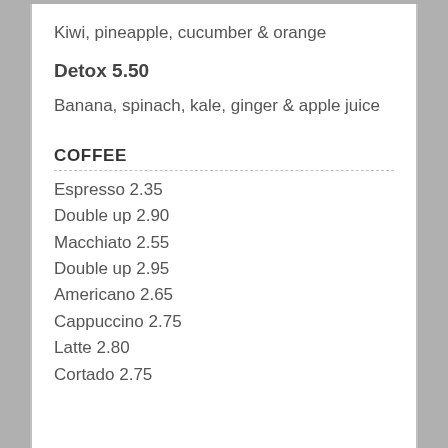Kiwi, pineapple, cucumber & orange
Detox 5.50
Banana, spinach, kale, ginger & apple juice
COFFEE
Espresso 2.35
Double up 2.90
Macchiato 2.55
Double up 2.95
Americano 2.65
Cappuccino 2.75
Latte 2.80
Cortado 2.75